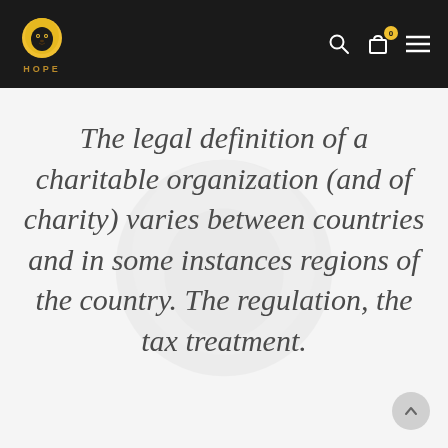HOPE — website header with logo, search, cart, and menu icons
The legal definition of a charitable organization (and of charity) varies between countries and in some instances regions of the country. The regulation, the tax treatment.